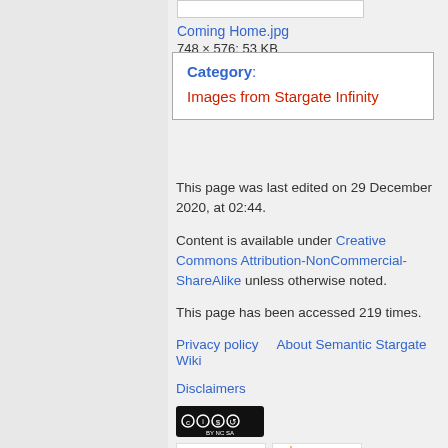Coming Home.jpg
748 × 576; 53 KB
Category: Images from Stargate Infinity
This page was last edited on 29 December 2020, at 02:44.
Content is available under Creative Commons Attribution-NonCommercial-ShareAlike unless otherwise noted.
This page has been accessed 219 times.
Privacy policy   About Semantic Stargate Wiki
Disclaimers
[Figure (logo): Creative Commons BY-NC-SA badge]
[Figure (logo): Powered by MediaWiki badge]
[Figure (logo): Semantic MediaWiki badge]